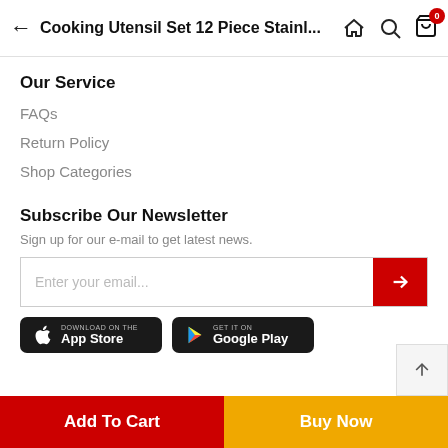Cooking Utensil Set 12 Piece Stainl...
Our Service
FAQs
Return Policy
Shop Categories
Subscribe Our Newsletter
Sign up for our e-mail to get latest news.
Enter your email...
[Figure (screenshot): Download on the App Store button]
[Figure (screenshot): Get it on Google Play button]
Add To Cart
Buy Now